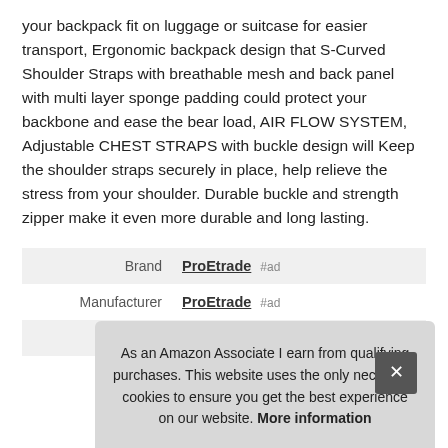your backpack fit on luggage or suitcase for easier transport, Ergonomic backpack design that S-Curved Shoulder Straps with breathable mesh and back panel with multi layer sponge padding could protect your backbone and ease the bear load, AIR FLOW SYSTEM, Adjustable CHEST STRAPS with buckle design will Keep the shoulder straps securely in place, help relieve the stress from your shoulder. Durable buckle and strength zipper make it even more durable and long lasting.
|  |  |
| --- | --- |
| Brand | ProEtrade #ad |
| Manufacturer | ProEtrade #ad |
| Weight | 1.8 Pounds |
As an Amazon Associate I earn from qualifying purchases. This website uses the only necessary cookies to ensure you get the best experience on our website. More information